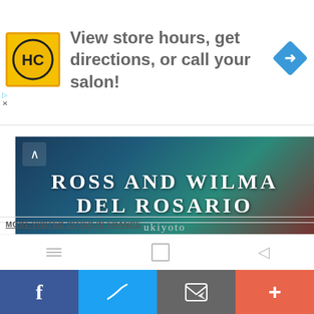[Figure (screenshot): Advertisement banner with HC logo and text 'View store hours, get directions, or call your salon!']
[Figure (photo): Book banner with text 'ROSS AND WILMA DEL ROSARIO ukiyoto' on dark blue/teal/red background]
[Figure (screenshot): Two book cover thumbnails: first selected with orange border, second unselected]
[Figure (screenshot): Android navigation bar with menu, home, and back icons]
MOST-VISITED CITIES IN FRANCE
[Figure (screenshot): Social share footer with Facebook, Twitter, email, and plus buttons]